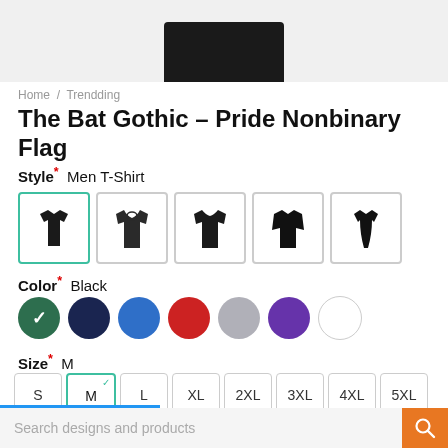[Figure (photo): Product image area showing bottom of a black t-shirt against light gray background]
Home / Trendding
The Bat Gothic – Pride Nonbinary Flag
Style* Men T-Shirt
[Figure (illustration): Style selectors: men t-shirt (selected with teal border), hoodie, crewneck sweatshirt, long sleeve, women t-shirt]
Color* Black
[Figure (illustration): Color swatches: dark green (selected with checkmark), navy, blue, red, gray, purple, white]
Size* M
[Figure (illustration): Size buttons: S, M (selected with teal border and checkmark), L, XL, 2XL, 3XL, 4XL, 5XL]
Search designs and products